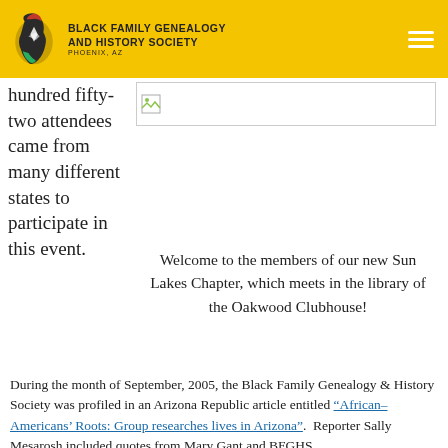Black Family Genealogy And History Society Phoenix, AZ
hundred fifty-two attendees came from many different states to participate in this event.
[Figure (photo): Small image thumbnail placeholder in right column]
Welcome to the members of our new Sun Lakes Chapter, which meets in the library of the Oakwood Clubhouse!
During the month of September, 2005, the Black Family Genealogy & History Society was profiled in an Arizona Republic article entitled “African-Americans’ Roots: Group researches lives in Arizona”. Reporter Sally Mesarosh included quotes from Mary Gant and BFGHS